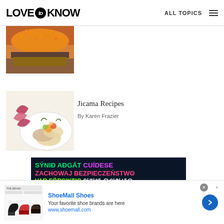LOVE to KNOW | ALL TOPICS
[Figure (photo): Food photo showing a burger or fried food item with orange coating]
[Figure (photo): Jicama recipes - plate with jicama chips, pickled red onion, and vegetable salsa]
Jicama Recipes
By Karen Frazier
[Figure (infographic): Safety message advertisement in multiple languages: SÝNIÐ AÐGÁT CUÍDESE / ZACHOWAJ BEZPIECZEŃSTWO / VAR FÖRSIKTIG 안전에 유의하세요 / BE SAFE]
[Figure (photo): ShoeMall Shoes advertisement with shoe images]
ShoeMall Shoes
Your favorite shoe brands are here
www.shoemall.com